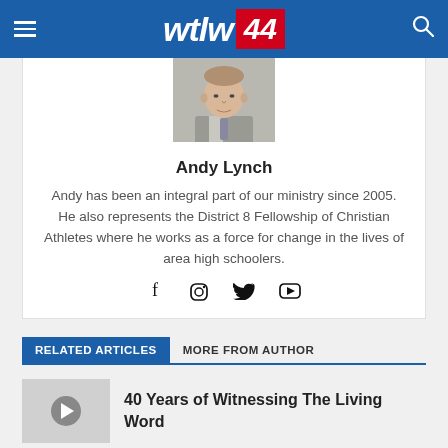wtlw 44
[Figure (photo): Headshot photo of Andy Lynch in a suit and tie]
Andy Lynch
Andy has been an integral part of our ministry since 2005. He also represents the District 8 Fellowship of Christian Athletes where he works as a force for change in the lives of area high schoolers.
RELATED ARTICLES   MORE FROM AUTHOR
40 Years of Witnessing The Living Word
Operation Christmas Child Drop-Off